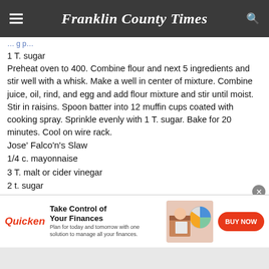Franklin County Times
1 T. sugar
Preheat oven to 400. Combine flour and next 5 ingredients and stir well with a whisk. Make a well in center of mixture. Combine juice, oil, rind, and egg and add flour mixture and stir until moist. Stir in raisins. Spoon batter into 12 muffin cups coated with cooking spray. Sprinkle evenly with 1 T. sugar. Bake for 20 minutes. Cool on wire rack.
Jose' Falco'n's Slaw
1/4 c. mayonnaise
3 T. malt or cider vinegar
2 t. sugar
2 c. finely shredded red cabbage
1 c. finely shedded green cabbage
1 red pepper thinly sliced
1 c. chopped fresh cilantro
[Figure (infographic): Quicken advertisement: Take Control of Your Finances. Plan for today and tomorrow with one solution to manage all your finances. BUY NOW button. Shows woman working at laptop with pie chart graphic.]